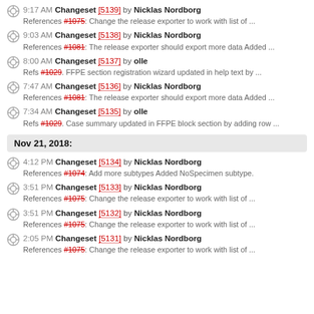9:17 AM Changeset [5139] by Nicklas Nordborg
References #1075: Change the release exporter to work with list of ...
9:03 AM Changeset [5138] by Nicklas Nordborg
References #1081: The release exporter should export more data Added ...
8:00 AM Changeset [5137] by olle
Refs #1029. FFPE section registration wizard updated in help text by ...
7:47 AM Changeset [5136] by Nicklas Nordborg
References #1081: The release exporter should export more data Added ...
7:34 AM Changeset [5135] by olle
Refs #1029. Case summary updated in FFPE block section by adding row ...
Nov 21, 2018:
4:12 PM Changeset [5134] by Nicklas Nordborg
References #1074: Add more subtypes Added NoSpecimen subtype.
3:51 PM Changeset [5133] by Nicklas Nordborg
References #1075: Change the release exporter to work with list of ...
3:51 PM Changeset [5132] by Nicklas Nordborg
References #1075: Change the release exporter to work with list of ...
2:05 PM Changeset [5131] by Nicklas Nordborg
References #1075: Change the release exporter to work with list of ...